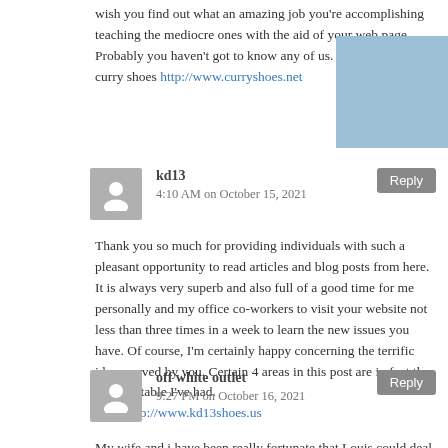wish you find out what an amazing job you're accomplishing teaching the mediocre ones with the aid of your web page. Probably you haven't got to know any of us.
curry shoes http://www.curryshoes.net
kd13
4:10 AM on October 15, 2021
Thank you so much for providing individuals with such a pleasant opportunity to read articles and blog posts from here. It is always very superb and also full of a good time for me personally and my office co-workers to visit your website not less than three times in a week to learn the new issues you have. Of course, I'm certainly happy concerning the terrific ideas served by you. Certain 4 areas in this post are in fact the most suitable I've had.
kd13 http://www.kd13shoes.us
off white outlet
9:27 PM on October 16, 2021
My wife and i have been really fortunate that Louis could deal with his research through the precious recommendations he grabbed out of the site. It is now and again perplexing to simply continually be making a gift of tricks that a number of people might have been trying to sell. And we acknowledge we now have the writer to appreciate because of that. The most important illustrations you made, the easy site navigation, the friendships you give support to instill - it is most overwhelming, and it's